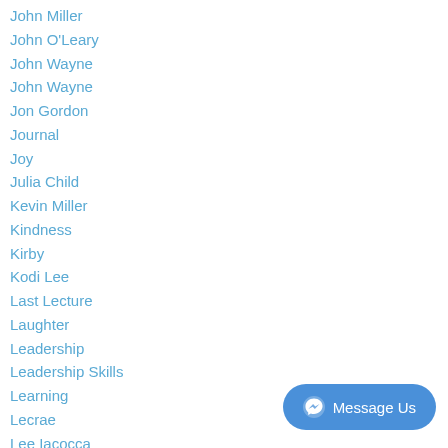John Miller
John O'Leary
John Wayne
John Wayne
Jon Gordon
Journal
Joy
Julia Child
Kevin Miller
Kindness
Kirby
Kodi Lee
Last Lecture
Laughter
Leadership
Leadership Skills
Learning
Lecrae
Lee Iacocca
Les Brown
[Figure (other): Facebook Messenger 'Message Us' button widget]